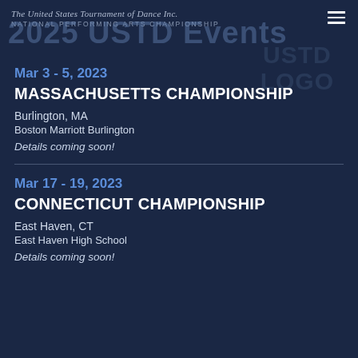The United States Tournament of Dance Inc.
National Performing Arts Championship
2025 USTD Events
Mar 3 - 5, 2023
MASSACHUSETTS CHAMPIONSHIP
Burlington, MA
Boston Marriott Burlington
Details coming soon!
Mar 17 - 19, 2023
CONNECTICUT CHAMPIONSHIP
East Haven, CT
East Haven High School
Details coming soon!